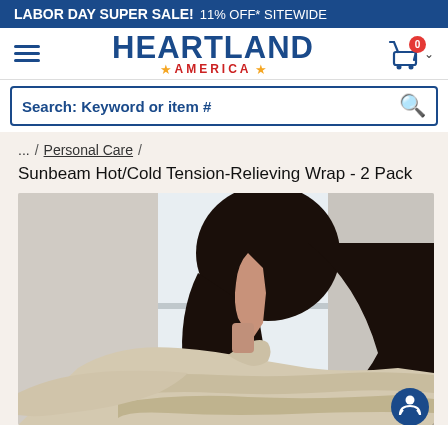LABOR DAY SUPER SALE! 11% OFF* SITEWIDE
[Figure (logo): Heartland America logo with hamburger menu and shopping cart]
Search: Keyword or item #
... / Personal Care /
Sunbeam Hot/Cold Tension-Relieving Wrap - 2 Pack
[Figure (photo): Woman seen from behind wearing a beige/cream shoulder wrap, looking out a window. Product lifestyle photo for Sunbeam Hot/Cold Tension-Relieving Wrap.]